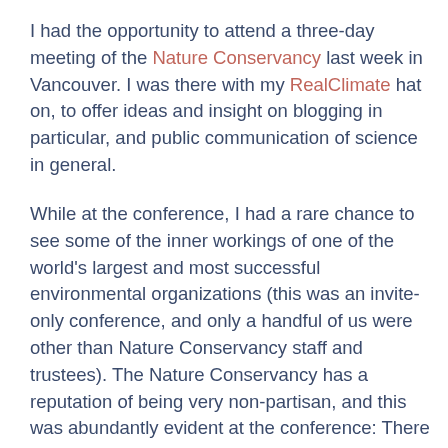I had the opportunity to attend a three-day meeting of the Nature Conservancy last week in Vancouver. I was there with my RealClimate hat on, to offer ideas and insight on blogging in particular, and public communication of science in general.
While at the conference, I had a rare chance to see some of the inner workings of one of the world's largest and most successful environmental organizations (this was an invite-only conference, and only a handful of us were other than Nature Conservancy staff and trustees). The Nature Conservancy has a reputation of being very non-partisan, and this was abundantly evident at the conference: There were representatives present from the Shell Oil Company, from the Christian Coalition, from Environmental Defense. This broad level of buy-in of Nature Conservancy goals is perhaps not surprising, given that the main thing this organization is known for is its method of protecting land: buying it. Neither free-market boosters (if there are there any remaining) nor lofty environmentalists have any trouble